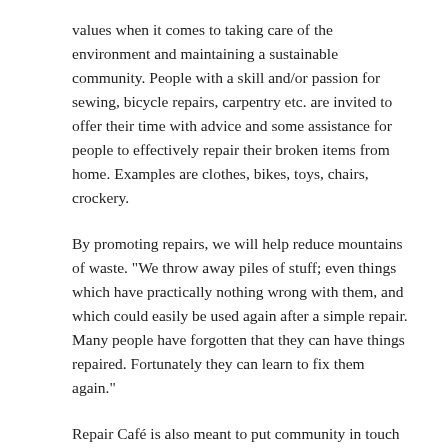values when it comes to taking care of the environment and maintaining a sustainable community. People with a skill and/or passion for sewing, bicycle repairs, carpentry etc. are invited to offer their time with advice and some assistance for people to effectively repair their broken items from home. Examples are clothes, bikes, toys, chairs, crockery.
By promoting repairs, we will help reduce mountains of waste. "We throw away piles of stuff; even things which have practically nothing wrong with them, and which could easily be used again after a simple repair. Many people have forgotten that they can have things repaired. Fortunately they can learn to fix them again."
Repair Café is also meant to put community in touch with each other in a new way. It answers the need for skill sharing, mentoring and social inclusion. According to Café Co-ordinator Ken Bright, "If you repair a bike or a pair of trousers and do it together with someone you haven't yet met, a positive connection can emerge. Jointly making repairs can lead to interesting new contacts in the